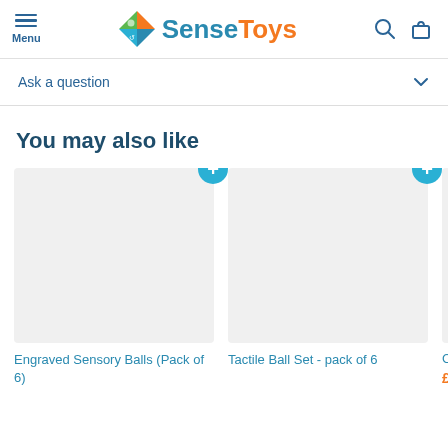SenseToys - Menu, Search, Bag
Ask a question
You may also like
[Figure (other): Product card placeholder image - Engraved Sensory Balls (Pack of 6)]
Engraved Sensory Balls (Pack of 6)
[Figure (other): Product card placeholder image - Tactile Ball Set - pack of 6]
Tactile Ball Set - pack of 6
Consto
£15.9